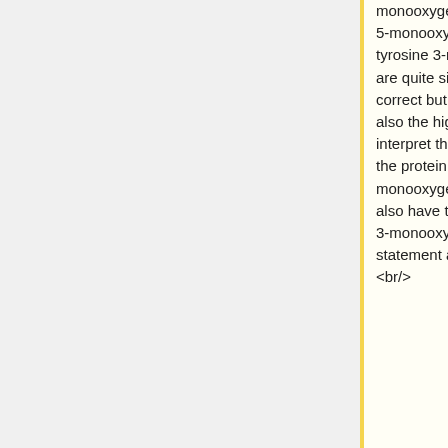monooxygenase activity, tryptophan 5-monooxygenase activity and tyrosine 3-monooxygenase activity are quite similar and only the first is correct but has, of this three results, also the highest confidence. If we interpret this as "It's most likely that the protein has phenylalanine 4-monooxygenase activity, but could also have tryptophan 5- and tyrosine 3-monooxygenase activity" this statement appears quite accurate.<br/>
phenylalanine 4-monooxygenase activity, tryptophan 5-monooxygenase activity and tyrosine 3-monooxygenase activity, are quite similar and only the first is correct but has, of this three results, also the highest confidence. If we interpret this as "It's most likely that the protein has phenylalanine 4-monooxygenase activity, but could also have tryptophan 5- and tyrosine 3-monooxygenase activity" this statement appears quite accurate.<br/>